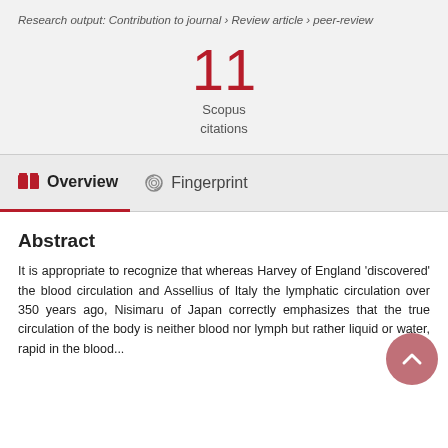Research output: Contribution to journal › Review article › peer-review
11
Scopus
citations
Overview   Fingerprint
Abstract
It is appropriate to recognize that whereas Harvey of England 'discovered' the blood circulation and Assellius of Italy the lymphatic circulation over 350 years ago, Nisimaru of Japan correctly emphasizes that the true circulation of the body is neither blood nor lymph but rather liquid or water, rapid in the blood...